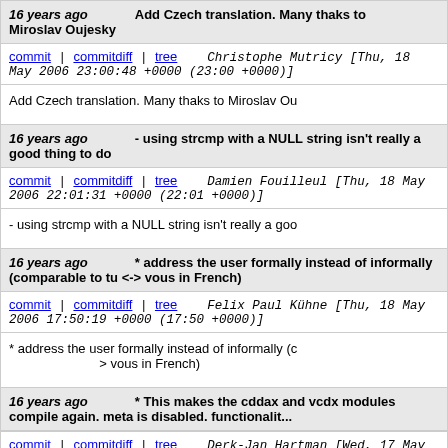16 years ago   Add Czech translation. Many thaks to Miroslav Oujesky
commit | commitdiff | tree   Christophe Mutricy [Thu, 18 May 2006 23:00:48 +0000 (23:00 +0000)]
Add Czech translation. Many thaks to Miroslav Ou
16 years ago   - using strcmp with a NULL string isn't really a good thing to do
commit | commitdiff | tree   Damien Fouilleul [Thu, 18 May 2006 22:01:31 +0000 (22:01 +0000)]
- using strcmp with a NULL string isn't really a goo
16 years ago   * address the user formally instead of informally (comparable to tu <-> vous in French)
commit | commitdiff | tree   Felix Paul Kühne [Thu, 18 May 2006 17:50:19 +0000 (17:50 +0000)]
* address the user formally instead of informally (c > vous in French)
16 years ago   * This makes the cddax and vcdx modules compile again. meta is disabled. functionalit...
commit | commitdiff | tree   Derk-Jan Hartman [Wed, 17 May 2006